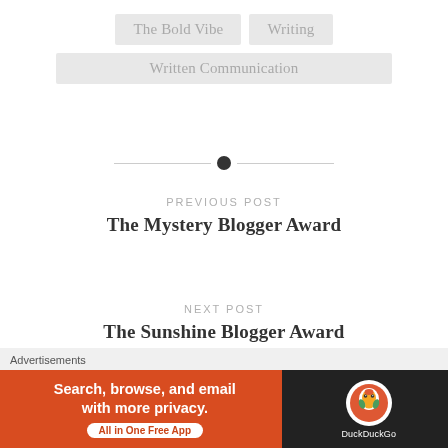The Bold Vibe
Writing
Written Communication
[Figure (other): Horizontal divider with a centered black dot]
PREVIOUS POST
The Mystery Blogger Award
NEXT POST
The Sunshine Blogger Award
Advertisements
[Figure (other): DuckDuckGo advertisement banner: Search, browse, and email with more privacy. All in One Free App. DuckDuckGo logo on right.]